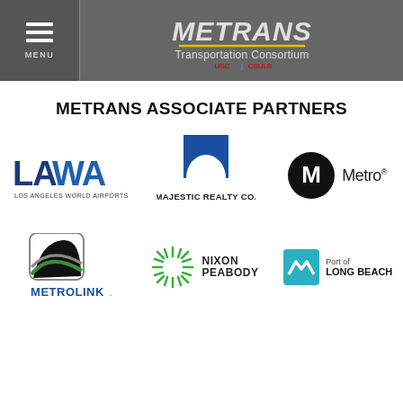[Figure (logo): METRANS Transportation Consortium header with hamburger menu button on left and METRANS logo on right against grey background]
METRANS ASSOCIATE PARTNERS
[Figure (logo): Row of three partner logos: LAWA (Los Angeles World Airports), Majestic Realty Co., and Metro]
[Figure (logo): Row of three partner logos: Metrolink, Nixon Peabody, and Port of Long Beach]